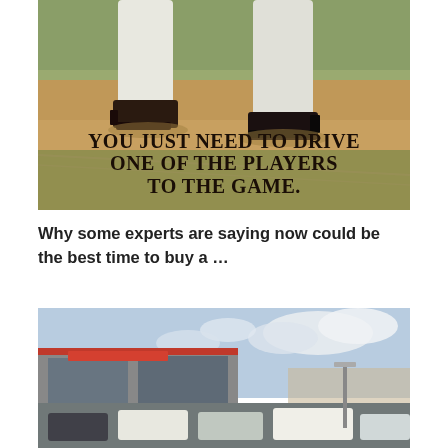[Figure (photo): Baseball player legs on dirt field with overlaid text: YOU JUST NEED TO DRIVE ONE OF THE PLAYERS TO THE GAME.]
Why some experts are saying now could be the best time to buy a ...
[Figure (photo): Toyota car dealership exterior with cars in parking lot and cloudy sky]